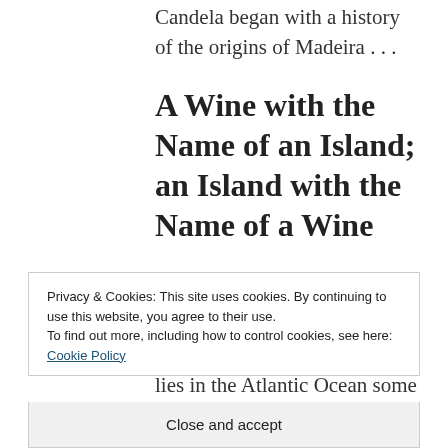Candela began with a history of the origins of Madeira . . .
A Wine with the Name of an Island; an Island with the Name of a Wine
Just a short 1.5-hour flight from Lisbon, the subtropical, mountainous island of Madeira lies in the Atlantic Ocean some 325
Privacy & Cookies: This site uses cookies. By continuing to use this website, you agree to their use.
To find out more, including how to control cookies, see here: Cookie Policy
Close and accept